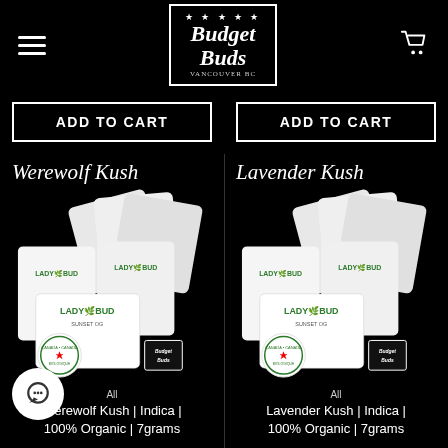[Figure (logo): Budget Buds Vancouver BC logo in a white bordered box with stars]
ADD TO CART
ADD TO CART
[Figure (photo): White Lady Bud branded product packages for Werewolf Kush with Canada Organic seal and Budget Buds logo]
[Figure (photo): White Lady Bud branded product packages for Lavender Kush with Canada Organic seal and Budget Buds logo]
All
Werewolf Kush | Indica | 100% Organic | 7grams
All
Lavender Kush | Indica | 100% Organic | 7grams